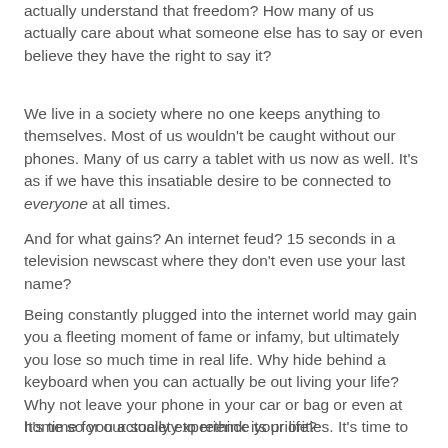actually understand that freedom? How many of us actually care about what someone else has to say or even believe they have the right to say it?
We live in a society where no one keeps anything to themselves. Most of us wouldn't be caught without our phones. Many of us carry a tablet with us now as well. It's as if we have this insatiable desire to be connected to everyone at all times.
And for what gains? An internet feud? 15 seconds in a television newscast where they don't even use your last name?
Being constantly plugged into the internet world may gain you a fleeting moment of fame or infamy, but ultimately you lose so much time in real life. Why hide behind a keyboard when you can actually be out living your life? Why not leave your phone in your car or bag or even at home so you actually experience your life?
It's time for our society to rethink its priorities. It's time to